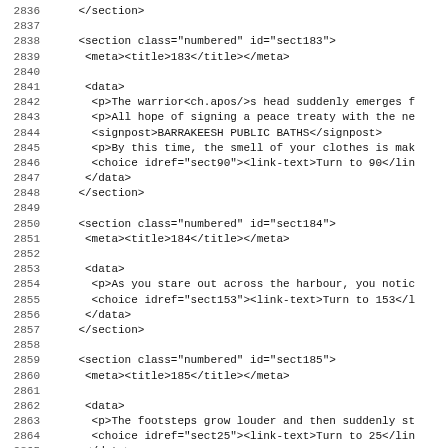Code listing lines 2836-2867 showing XML source with section elements numbered 183, 184, 185
2836    </section>
2837
2838    <section class="numbered" id="sect183">
2839     <meta><title>183</title></meta>
2840
2841     <data>
2842      <p>The warrior<ch.apos/>s head suddenly emerges f
2843      <p>All hope of signing a peace treaty with the ne
2844      <signpost>BARRAKEESH PUBLIC BATHS</signpost>
2845      <p>By this time, the smell of your clothes is mak
2846      <choice idref="sect90"><link-text>Turn to 90</lin
2847     </data>
2848    </section>
2849
2850    <section class="numbered" id="sect184">
2851     <meta><title>184</title></meta>
2852
2853     <data>
2854      <p>As you stare out across the harbour, you notic
2855      <choice idref="sect153"><link-text>Turn to 153</l
2856     </data>
2857    </section>
2858
2859    <section class="numbered" id="sect185">
2860     <meta><title>185</title></meta>
2861
2862     <data>
2863      <p>The footsteps grow louder and then suddenly st
2864      <choice idref="sect25"><link-text>Turn to 25</lin
2865     </data>
2866    </section>
2867